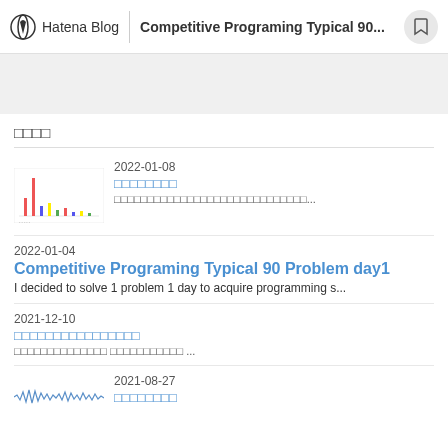Hatena Blog | Competitive Programing Typical 90...
[Figure (screenshot): Gray banner/advertisement area]
□□□□
2022-01-08
□□□□□□□□
□□□□□□□□□□□□□□□□□□□□□□□□□□□□□...
2022-01-04
Competitive Programing Typical 90 Problem day1
I decided to solve 1 problem 1 day to acquire programming s...
2021-12-10
□□□□□□□□□□□□□□□□
□□□□□□□□□□□□□□ □□□□□□□□□□□ ...
2021-08-27
□□□□□□□□